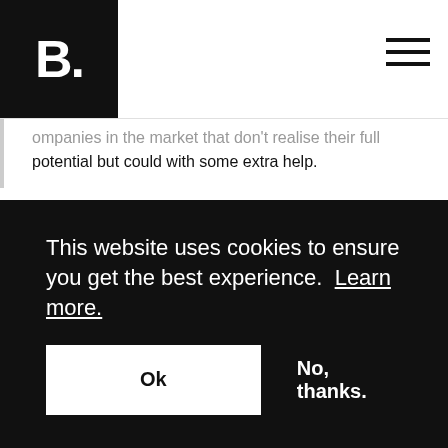[Figure (logo): Booking.com or similar B. logo in white on black square background]
companies in the market that don't realise their full potential but could with some extra help.
This website uses cookies to ensure you get the best experience. Learn more.
Ok
No, thanks.
What's Riverdam's mission?
We help ambitious small and medium-sized companies grow through capital, energy and trust.